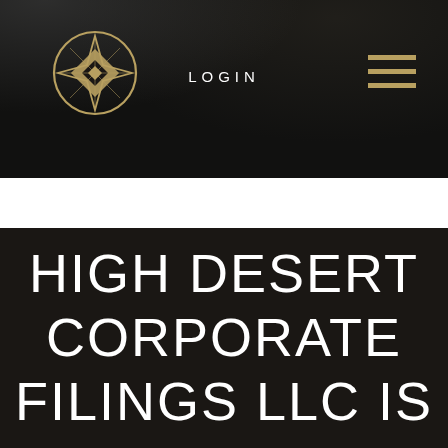[Figure (logo): Circular geometric star logo in gold on dark background, navigation bar with LOGIN link and hamburger menu]
HIGH DESERT CORPORATE FILINGS LLC IS